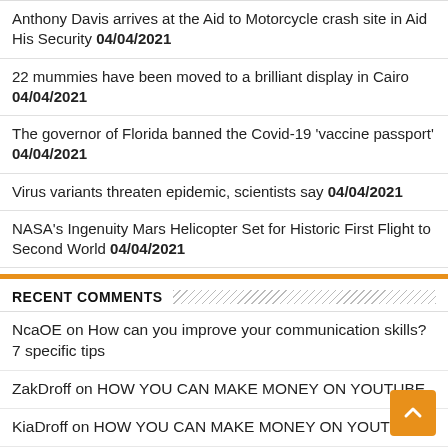Anthony Davis arrives at the Aid to Motorcycle crash site in Aid His Security 04/04/2021
22 mummies have been moved to a brilliant display in Cairo 04/04/2021
The governor of Florida banned the Covid-19 'vaccine passport' 04/04/2021
Virus variants threaten epidemic, scientists say 04/04/2021
NASA's Ingenuity Mars Helicopter Set for Historic First Flight to Second World 04/04/2021
RECENT COMMENTS
NcaOE on How can you improve your communication skills? 7 specific tips
ZakDroff on HOW YOU CAN MAKE MONEY ON YOUTUBE
KiaDroff on HOW YOU CAN MAKE MONEY ON YOUTUBE
highstatusdating on Mix your content: 9 different types of